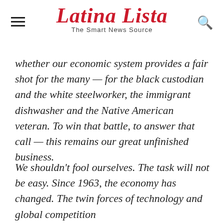Latina Lista — The Smart News Source
whether our economic system provides a fair shot for the many — for the black custodian and the white steelworker, the immigrant dishwasher and the Native American veteran. To win that battle, to answer that call — this remains our great unfinished business.
We shouldn't fool ourselves. The task will not be easy. Since 1963, the economy has changed. The twin forces of technology and global competition